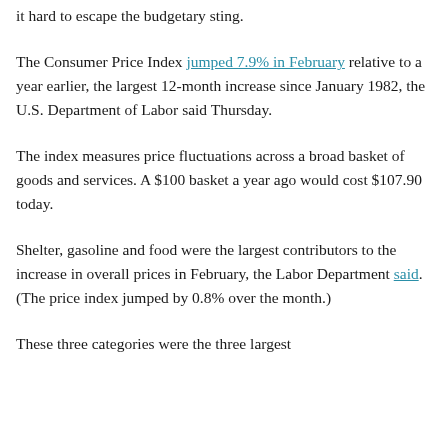it hard to escape the budgetary sting.
The Consumer Price Index jumped 7.9% in February relative to a year earlier, the largest 12-month increase since January 1982, the U.S. Department of Labor said Thursday.
The index measures price fluctuations across a broad basket of goods and services. A $100 basket a year ago would cost $107.90 today.
Shelter, gasoline and food were the largest contributors to the increase in overall prices in February, the Labor Department said. (The price index jumped by 0.8% over the month.)
These three categories were the three largest